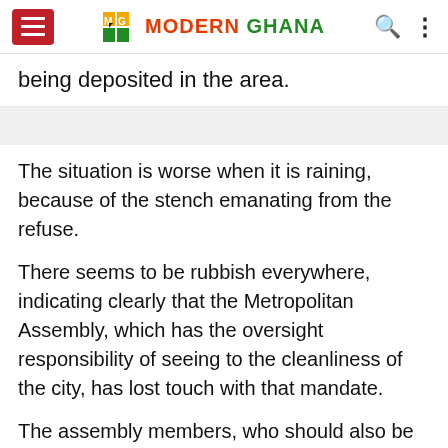Modern Ghana
being deposited in the area.
The situation is worse when it is raining, because of the stench emanating from the refuse.
There seems to be rubbish everywhere, indicating clearly that the Metropolitan Assembly, which has the oversight responsibility of seeing to the cleanliness of the city, has lost touch with that mandate.
The assembly members, who should also be talking to remind those in authority to act, are also failing to live up to expectation, making their presence in the Assembly ineffective.